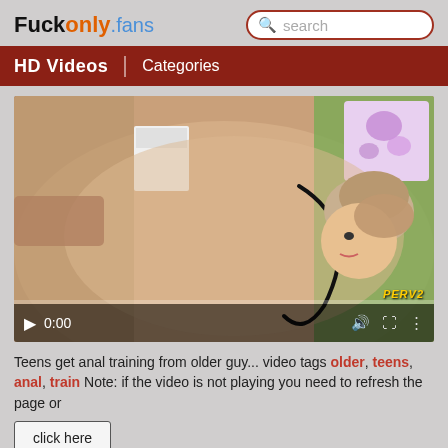Fuckonly.fans
[Figure (screenshot): Website navigation bar with HD Videos and Categories menu items on dark red background]
[Figure (screenshot): Video player thumbnail showing adult content with playback controls bar at bottom showing 0:00 timestamp]
Teens get anal training from older guy... video tags older, teens, anal, train Note: if the video is not playing you need to refresh the page or
click here